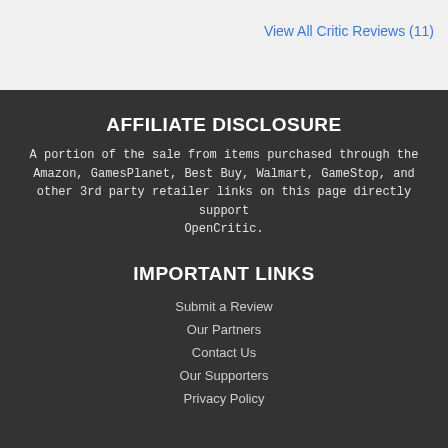View All Critic Reviews (11)
AFFILIATE DISCLOSURE
A portion of the sale from items purchased through the Amazon, GamesPlanet, Best Buy, Walmart, GameStop, and other 3rd party retailer links on this page directly support OpenCritic.
IMPORTANT LINKS
Submit a Review
Our Partners
Contact Us
Our Supporters
Privacy Policy